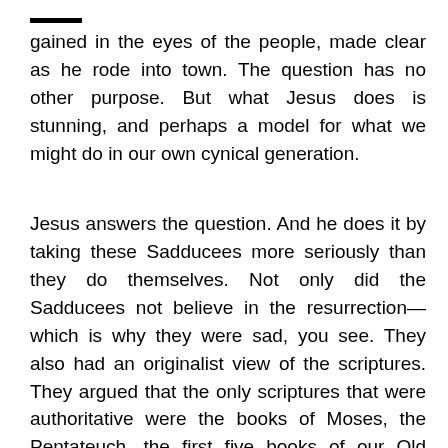——
gained in the eyes of the people, made clear as he rode into town. The question has no other purpose. But what Jesus does is stunning, and perhaps a model for what we might do in our own cynical generation.
Jesus answers the question. And he does it by taking these Sadducees more seriously than they do themselves. Not only did the Sadducees not believe in the resurrection—which is why they were sad, you see. They also had an originalist view of the scriptures. They argued that the only scriptures that were authoritative were the books of Moses, the Pentateuch, the first five books of our Old Testament. The rest were of lesser importance. So Jesus doesn't duck the question or try to pivot to a proven debate response highlighting how deplorable or crooked his opponents are. Jesus simply